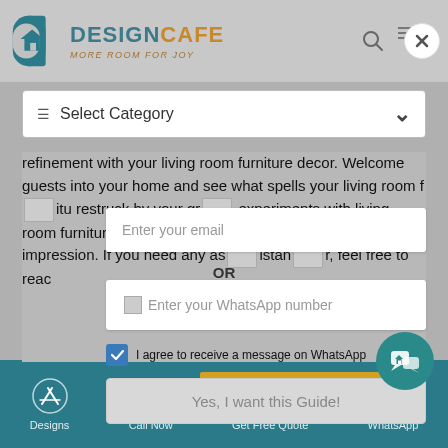[Figure (logo): DesignCafe logo with house icon, text DESIGNCAFE MORE ROOM FOR JOY]
[Figure (screenshot): Select Category dropdown bar with chevron]
refinement with your living room furniture decor. Welcome guests into your home and see what spells your living room furniture [image] restruck by your grand experiments with living room furniture and decor. Score an ace and make the right impression. If you need any assistance [image] r, feel free to reach
[Figure (screenshot): Modal overlay with email input field, OR divider, WhatsApp number input, checkbox for WhatsApp message consent, and Yes I want this Guide button]
Enter your email
OR
Enter your WhatsApp number
I agree to receive a message on WhatsApp
Flat 24% Off   Book Before 9th [text]
Yes, I want this Guide!
Designs   Call Now   Get Free Quote   WhatsApp